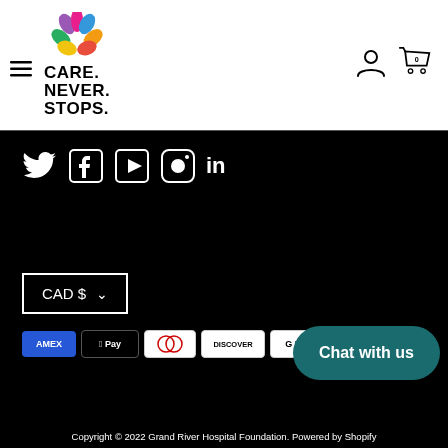[Figure (logo): Care. Never. Stops. logo with colorful flower petals above bold text]
[Figure (illustration): Social media icons: Twitter, Facebook, YouTube, Instagram, LinkedIn]
CAD $ ▾
[Figure (illustration): Payment method icons: Amex, Apple Pay, Diners, Discover, Google Pay, Mastercard, PayPal]
Chat with us
Copyright © 2022 Grand River Hospital Foundation. Powered by Shopify